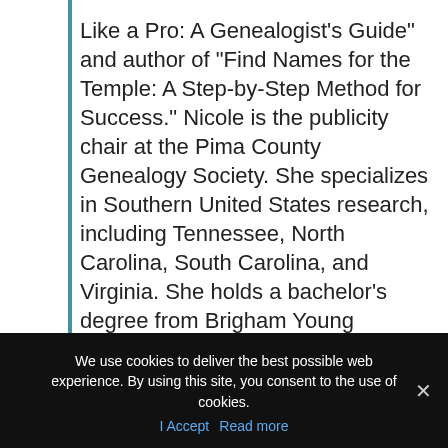Like a Pro: A Genealogist's Guide" and author of "Find Names for the Temple: A Step-by-Step Method for Success." Nicole is the publicity chair at the Pima County Genealogy Society. She specializes in Southern United States research, including Tennessee, North Carolina, South Carolina, and Virginia. She holds a bachelor's degree from Brigham Young University in History Teaching.
[Figure (other): Three social media icon buttons: Facebook (f), Twitter (bird), YouTube (play triangle), each in a light grey square box]
We use cookies to deliver the best possible web experience. By using this site, you consent to the use of cookies. | Accept  Read more